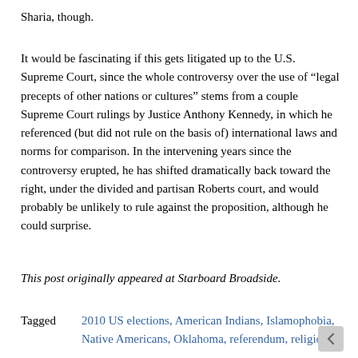Sharia, though.
It would be fascinating if this gets litigated up to the U.S. Supreme Court, since the whole controversy over the use of “legal precepts of other nations or cultures” stems from a couple Supreme Court rulings by Justice Anthony Kennedy, in which he referenced (but did not rule on the basis of) international laws and norms for comparison. In the intervening years since the controversy erupted, he has shifted dramatically back toward the right, under the divided and partisan Roberts court, and would probably be unlikely to rule against the proposition, although he could surprise.
This post originally appeared at Starboard Broadside.
Tagged   2010 US elections, American Indians, Islamophobia, Native Americans, Oklahoma, referendum, religion